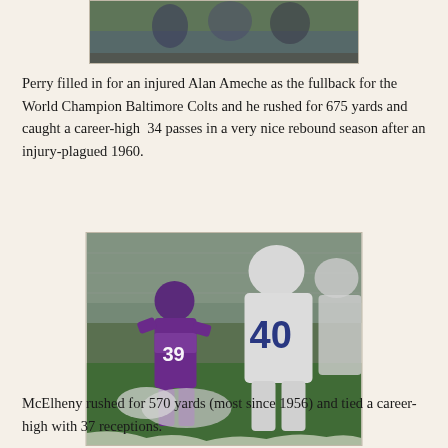[Figure (photo): Partial top photo of a football game action, cropped at top of page]
Perry filled in for an injured Alan Ameche as the fullback for the World Champion Baltimore Colts and he rushed for 675 yards and caught a career-high 34 passes in a very nice rebound season after an injury-plagued 1960.
[Figure (photo): Color photo of a football game. A player in a purple Vikings uniform (#39) is running with the ball while players in white Colts uniforms (#40) attempt to make a tackle.]
McElheny rushed for 570 yards (most since 1956) and tied a career-high with 37 receptions.